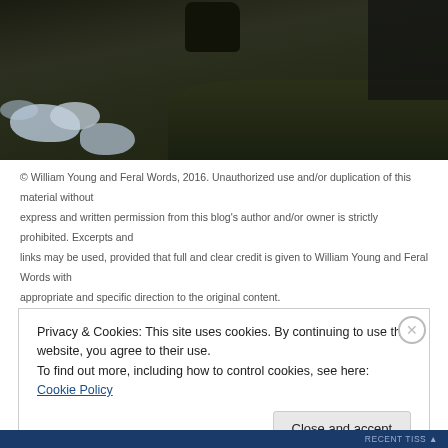[Figure (photo): Dark moorland landscape with patches of snow and ice on the ground, dark objects in the background, taken in low light conditions]
© William Young and Feral Words, 2016. Unauthorized use and/or duplication of this material without express and written permission from this blog's author and/or owner is strictly prohibited. Excerpts and links may be used, provided that full and clear credit is given to William Young and Feral Words with appropriate and specific direction to the original content.
Privacy & Cookies: This site uses cookies. By continuing to use this website, you agree to their use.
To find out more, including how to control cookies, see here: Cookie Policy
Close and accept